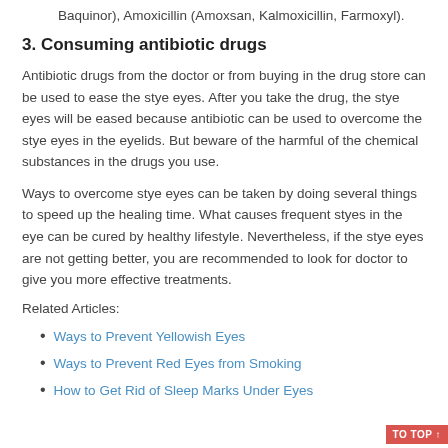Baquinor), Amoxicillin (Amoxsan, Kalmoxicillin, Farmoxyl).
3. Consuming antibiotic drugs
Antibiotic drugs from the doctor or from buying in the drug store can be used to ease the stye eyes. After you take the drug, the stye eyes will be eased because antibiotic can be used to overcome the stye eyes in the eyelids. But beware of the harmful of the chemical substances in the drugs you use.
Ways to overcome stye eyes can be taken by doing several things to speed up the healing time. What causes frequent styes in the eye can be cured by healthy lifestyle. Nevertheless, if the stye eyes are not getting better, you are recommended to look for doctor to give you more effective treatments.
Related Articles:
Ways to Prevent Yellowish Eyes
Ways to Prevent Red Eyes from Smoking
How to Get Rid of Sleep Marks Under Eyes